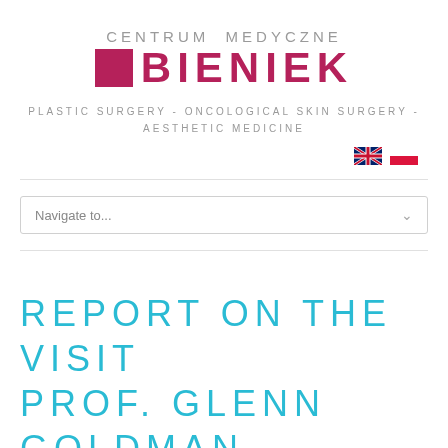[Figure (logo): Centrum Medyczne Bieniek logo with pink/magenta square and bold text]
PLASTIC SURGERY - ONCOLOGICAL SKIN SURGERY - AESTHETIC MEDICINE
[Figure (illustration): UK flag and Polish flag icons for language selection]
Navigate to...
REPORT ON THE VISIT PROF. GLENN GOLDMAN,